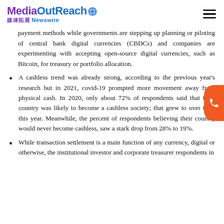MediaOutReach 媒体拓展 Newswire
payment methods while governments are stepping up planning or piloting of central bank digital currencies (CBDCs) and companies are experimenting with accepting open-source digital currencies, such as Bitcoin, for treasury or portfolio allocation.
A cashless trend was already strong, according to the previous year's research but in 2021, covid-19 prompted more movement away from physical cash. In 2020, only about 72% of respondents said that their country was likely to become a cashless society; that grew to over 81% this year. Meanwhile, the percent of respondents believing their country would never become cashless, saw a stark drop from 28% to 19%.
While transaction settlement is a main function of any currency, digital or otherwise, the institutional investor and corporate treasurer respondents in